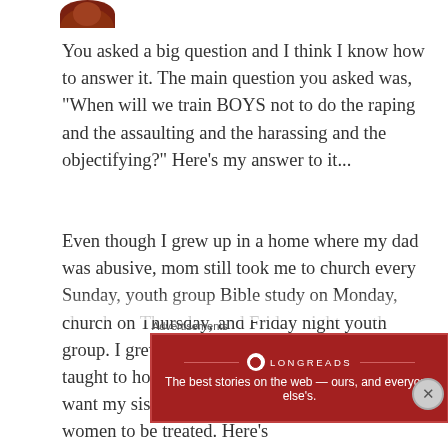[Figure (photo): Partial avatar/profile image at top, showing a dark reddish-brown circular photo cropped at bottom of frame]
You asked a big question and I think I know how to answer it. The main question you asked was, "When will we train BOYS not to do the raping and the assaulting and the harassing and the objectifying?" Here's my answer to it...
Even though I grew up in a home where my dad was abusive, mom still took me to church every Sunday, youth group Bible study on Monday, church on Thursday, and Friday night youth group. I grew up being spiritual. I was always taught to honor and respect women as I would want my sister, or even my good friends who are women to be treated. Here's
Advertisements
[Figure (other): Advertisement banner for Longreads. Dark red background with white text: 'LONGREADS' and tagline 'The best stories on the web — ours, and everyone else's.']